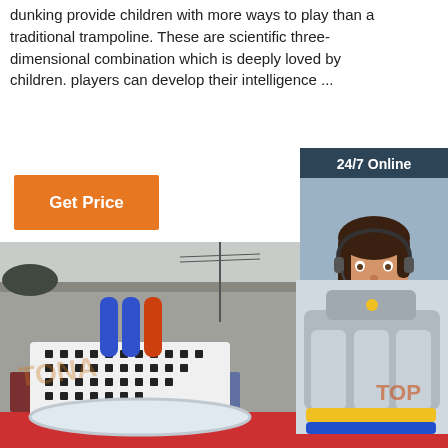dunking provide children with more ways to play than a traditional trampoline. These are scientific three-dimensional combination which is deeply loved by children. players can develop their intelligence ...
[Figure (infographic): Orange 'Get Price' button]
[Figure (infographic): Sidebar with '24/7 Online' header, customer service agent photo, 'Click here for free chat!' text, and orange QUOTATION button]
[Figure (photo): Outdoor photo of inflatable play structures including a white foam pit with black pegs and colorful inflatable pipes, in front of a large grey warehouse building]
[Figure (photo): Inflatable slide structure in grey, yellow and blue colors with TOP logo watermark]